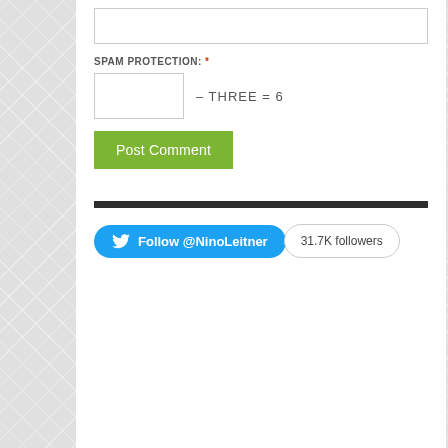[Figure (screenshot): Text input box (empty comment field)]
SPAM PROTECTION: *
[Figure (screenshot): Small text input box for spam math challenge followed by text '– THREE = 6']
[Figure (screenshot): Green 'Post Comment' button]
[Figure (screenshot): Dark horizontal divider bar]
[Figure (screenshot): Twitter Follow @NinoLeitner button (blue, rounded) with 31.7K followers badge]